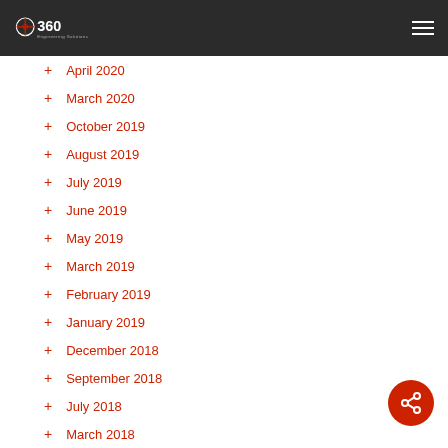360 Engineering Solutions
+ April 2020
+ March 2020
+ October 2019
+ August 2019
+ July 2019
+ June 2019
+ May 2019
+ March 2019
+ February 2019
+ January 2019
+ December 2018
+ September 2018
+ July 2018
+ March 2018